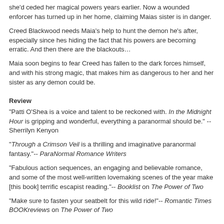she'd ceded her magical powers years earlier. Now a wounded enforcer has turned up in her home, claiming Maias sister is in danger.
Creed Blackwood needs Maia's help to hunt the demon he's after, especially since hes hiding the fact that his powers are becoming erratic. And then there are the blackouts…
Maia soon begins to fear Creed has fallen to the dark forces himself, and with his strong magic, that makes him as dangerous to her and her sister as any demon could be.
Review
"Patti O'Shea is a voice and talent to be reckoned with. In the Midnight Hour is gripping and wonderful, everything a paranormal should be." -- Sherrilyn Kenyon
"Through a Crimson Veil is a thrilling and imaginative paranormal fantasy."-- ParaNormal Romance Writers
"Fabulous action sequences, an engaging and believable romance, and some of the most well-written lovemaking scenes of the year make [this book] terrific escapist reading."-- Booklist on The Power of Two
"Make sure to fasten your seatbelt for this wild ride!"-- Romantic Times BOOKreviews on The Power of Two